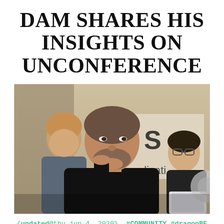DAM SHARES HIS INSIGHTS ON UNCONFERENCE
[Figure (photo): A man with a beard wearing a black shirt sits thoughtfully, hand on chin, looking upward. Two other people are visible in the background. A partial sign reading 'plicati' is visible behind them. A laptop and fan are visible on the right side.]
{updated@thu jun 4, 2020}  #COMMUNITY #dragonBE #interview #PHP #uncon #unconference